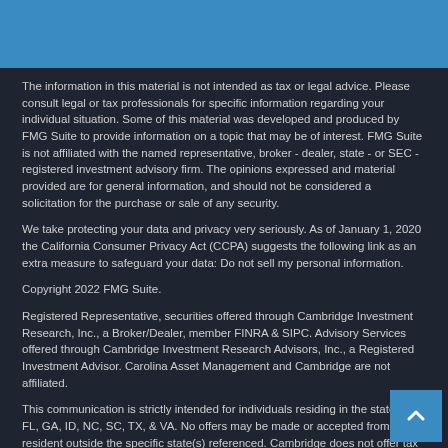The information in this material is not intended as tax or legal advice. Please consult legal or tax professionals for specific information regarding your individual situation. Some of this material was developed and produced by FMG Suite to provide information on a topic that may be of interest. FMG Suite is not affiliated with the named representative, broker - dealer, state - or SEC - registered investment advisory firm. The opinions expressed and material provided are for general information, and should not be considered a solicitation for the purchase or sale of any security.
We take protecting your data and privacy very seriously. As of January 1, 2020 the California Consumer Privacy Act (CCPA) suggests the following link as an extra measure to safeguard your data: Do not sell my personal information.
Copyright 2022 FMG Suite.
Registered Representative, securities offered through Cambridge Investment Research, Inc., a Broker/Dealer, member FINRA & SIPC. Advisory Services offered through Cambridge Investment Research Advisors, Inc., a Registered Investment Advisor. Carolina Asset Management and Cambridge are not affiliated.
This communication is strictly intended for individuals residing in the states of FL, GA, ID, NC, SC, TX, & VA. No offers may be made or accepted from any resident outside the specific state(s) referenced. Cambridge does not offer tax or legal advice.